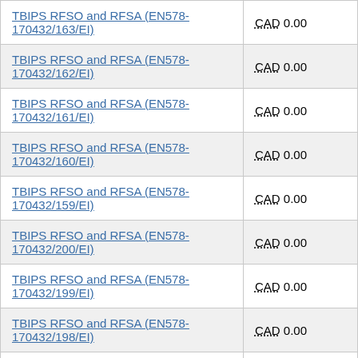| Contract | Amount |
| --- | --- |
| TBIPS RFSO and RFSA (EN578-170432/163/EI) | CAD 0.00 |
| TBIPS RFSO and RFSA (EN578-170432/162/EI) | CAD 0.00 |
| TBIPS RFSO and RFSA (EN578-170432/161/EI) | CAD 0.00 |
| TBIPS RFSO and RFSA (EN578-170432/160/EI) | CAD 0.00 |
| TBIPS RFSO and RFSA (EN578-170432/159/EI) | CAD 0.00 |
| TBIPS RFSO and RFSA (EN578-170432/200/EI) | CAD 0.00 |
| TBIPS RFSO and RFSA (EN578-170432/199/EI) | CAD 0.00 |
| TBIPS RFSO and RFSA (EN578-170432/198/EI) | CAD 0.00 |
| TBIPS RFSO and RFSA (EN578-170432/197/EI) | CAD 0.00 |